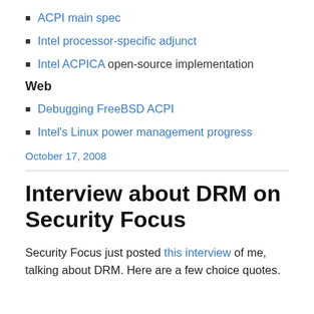ACPI main spec
Intel processor-specific adjunct
Intel ACPICA open-source implementation
Web
Debugging FreeBSD ACPI
Intel's Linux power management progress
October 17, 2008
Interview about DRM on Security Focus
Security Focus just posted this interview of me, talking about DRM. Here are a few choice quotes.